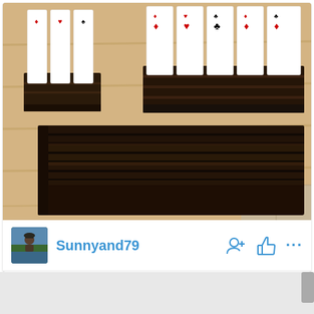[Figure (photo): Photograph of dark-stained wooden playing card holders on a light wood surface. Three tiered/slotted wooden card racks are shown, with playing cards (showing diamond, heart, club suits) inserted in the background racks. The foreground shows a detailed view of one empty card holder with multiple horizontal slots.]
Sunnyand79
2 Comments - Sign in to leave comments.